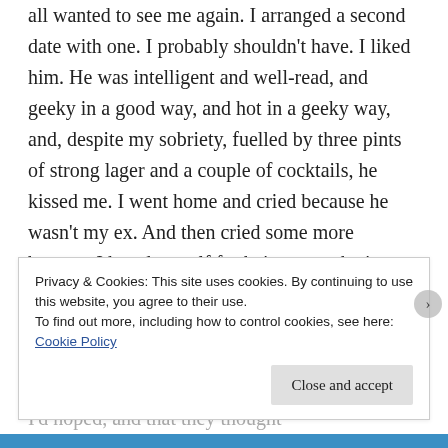all wanted to see me again. I arranged a second date with one. I probably shouldn't have. I liked him. He was intelligent and well-read, and geeky in a good way, and hot in a geeky way, and, despite my sobriety, fuelled by three pints of strong lager and a couple of cocktails, he kissed me. I went home and cried because he wasn't my ex. And then cried some more because I hated myself for being so pathetic.

Unfortunately for him, our second date ended up being on the day of my first scan. I'd found out that I didn't have as many growing follicles as I'd hoped, and that they thought
Privacy & Cookies: This site uses cookies. By continuing to use this website, you agree to their use.
To find out more, including how to control cookies, see here: Cookie Policy